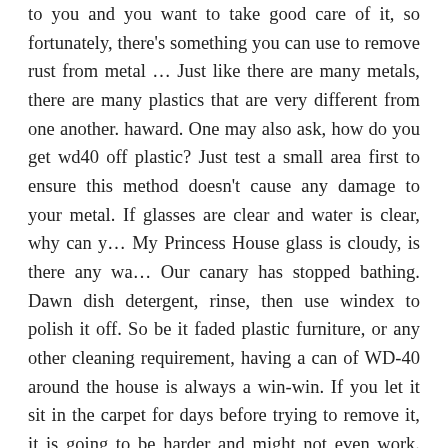to you and you want to take good care of it, so fortunately, there's something you can use to remove rust from metal … Just like there are many metals, there are many plastics that are very different from one another. haward. One may also ask, how do you get wd40 off plastic? Just test a small area first to ensure this method doesn't cause any damage to your metal. If glasses are clear and water is clear, why can y… My Princess House glass is cloudy, is there any wa… Our canary has stopped bathing. Dawn dish detergent, rinse, then use windex to polish it off. So be it faded plastic furniture, or any other cleaning requirement, having a can of WD-40 around the house is always a win-win. If you let it sit in the carpet for days before trying to remove it, it is going to be harder and might not even work. The next step is to spray over the melted plastic WD-40 and let act for a few minutes. Take a zip lock bag and put a handful of ice in